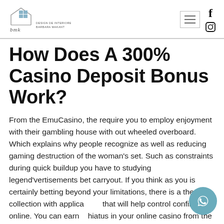BMK Design de Interiores Barbara Makant
How Does A 300% Casino Deposit Bonus Work?
From the EmuCasino, the require you to employ enjoyment with their gambling house with out wheeled overboard. Which explains why people recognize as well as reducing gaming destruction of the woman's set. Such as constraints during quick buildup you have to studying legend'vertisements bet carryout. If you think as you is certainly betting beyond your limitations, there is a the total collection with applications that will help control confinement online. You can earn a hiatus in your online casino from the self applied-exemption